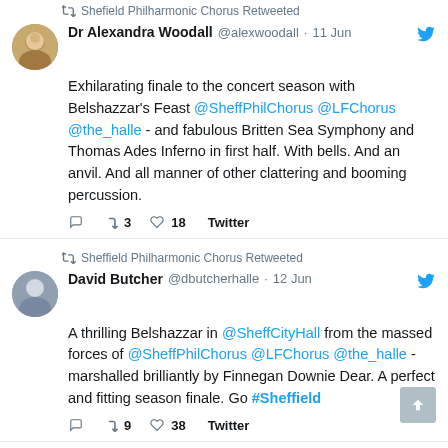Sheffield Philharmonic Chorus Retweeted
Dr Alexandra Woodall @alexwoodall · 11 Jun
Exhilarating finale to the concert season with Belshazzar's Feast @SheffPhilChorus @LFChorus @the_halle - and fabulous Britten Sea Symphony and Thomas Ades Inferno in first half. With bells. And an anvil. And all manner of other clattering and booming percussion.
3 retweets 18 likes Twitter
Sheffield Philharmonic Chorus Retweeted
David Butcher @dbutcherhalle · 12 Jun
A thrilling Belshazzar in @SheffCityHall from the massed forces of @SheffPhilChorus @LFChorus @the_halle - marshalled brilliantly by Finnegan Downie Dear. A perfect and fitting season finale. Go #Sheffield
9 retweets 38 likes Twitter